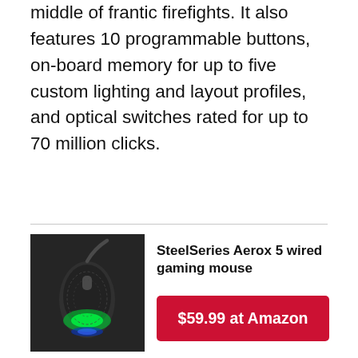middle of frantic firefights. It also features 10 programmable buttons, on-board memory for up to five custom lighting and layout profiles, and optical switches rated for up to 70 million clicks.
[Figure (photo): SteelSeries Aerox 5 wired gaming mouse with green and blue RGB lighting on a dark background]
SteelSeries Aerox 5 wired gaming mouse
$59.99 at Amazon
The Aerox 5 wired gaming mouse is one of SteelSeries' newest offerings. It retails for $79.99, though you may be able to find sales and discounts at retailers like Best Buy and Amazon. It features a